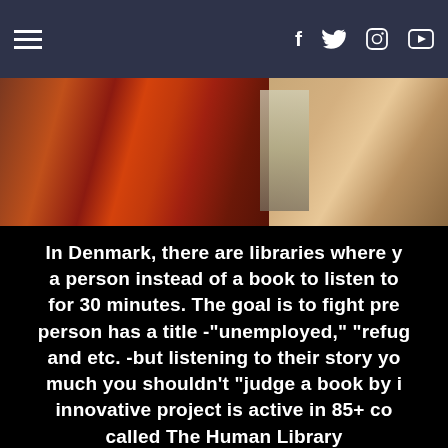Navigation bar with hamburger menu and social icons (f, twitter, instagram, youtube)
[Figure (photo): Photo showing library books and a person with headphones]
In Denmark, there are libraries where you can borrow a person instead of a book to listen to their story for 30 minutes. The goal is to fight prejudice. Each person has a title -"unemployed," "refugee," and etc. -but listening to their story you learn how much you shouldn't "judge a book by its cover." This innovative project is active in 85+ countries and is called The Human Library.
Librarian Humor